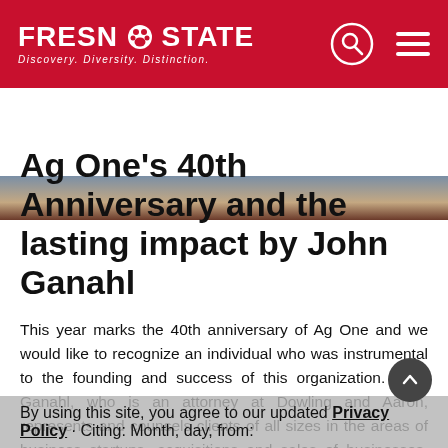FRESNO STATE — Discovery. Diversity. Distinction.
[Figure (photo): Partial photo strip showing a person, decorative fabric and wooden background]
Ag One's 40th Anniversary and the lasting impact by John Ganahl
This year marks the 40th anniversary of Ag One and we would like to recognize an individual who was instrumental to the founding and success of this organization. John Ganahl, who is an attorney at Dowling and Aaron, represents and counsels clients of all sizes in the areas of business startups, acquisitions and sales of businesses, entity formation and operations, and complex debt financing matters. John is an avid runner who has
By using this site, you agree to our updated Privacy Policy · Citing: Month, day, from: